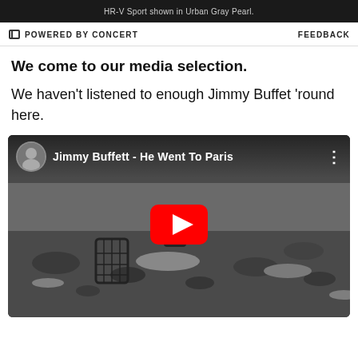HR-V Sport shown in Urban Gray Pearl.
POWERED BY CONCERT    FEEDBACK
We come to our media selection.
We haven't listened to enough Jimmy Buffet 'round here.
[Figure (screenshot): YouTube video embed screenshot showing 'Jimmy Buffett - He Went To Paris' with a black and white background image of a rocky snowy landscape, a red YouTube play button in the center, and the channel avatar in the top-left corner.]